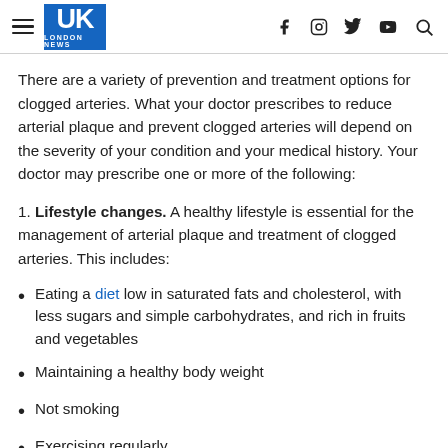UK LONDON NEWS
There are a variety of prevention and treatment options for clogged arteries. What your doctor prescribes to reduce arterial plaque and prevent clogged arteries will depend on the severity of your condition and your medical history. Your doctor may prescribe one or more of the following:
1. Lifestyle changes. A healthy lifestyle is essential for the management of arterial plaque and treatment of clogged arteries. This includes:
Eating a diet low in saturated fats and cholesterol, with less sugars and simple carbohydrates, and rich in fruits and vegetables
Maintaining a healthy body weight
Not smoking
Exercising regularly